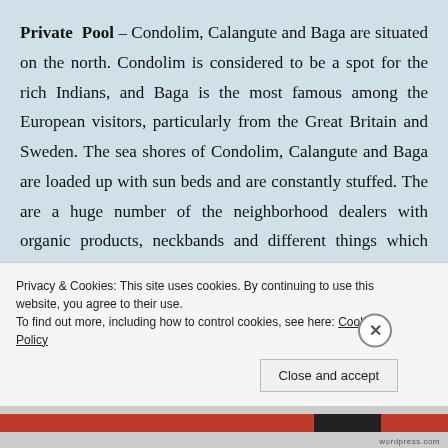Private Pool – Condolim, Calangute and Baga are situated on the north. Condolim is considered to be a spot for the rich Indians, and Baga is the most famous among the European visitors, particularly from the Great Britain and Sweden. The sea shores of Condolim, Calangute and Baga are loaded up with sun beds and are constantly stuffed. The are a huge number of the neighborhood dealers with organic products, neckbands and different things which they attempt to offer to travelers.
Privacy & Cookies: This site uses cookies. By continuing to use this website, you agree to their use. To find out more, including how to control cookies, see here: Cookie Policy